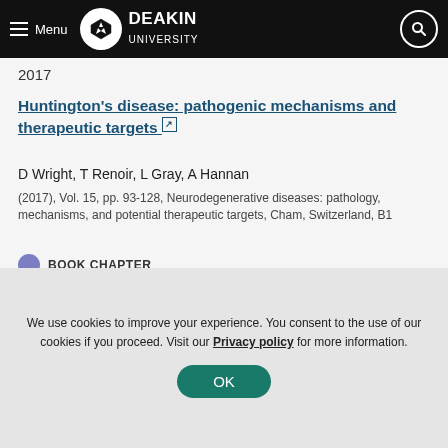Deakin University navigation bar
2017
Huntington's disease: pathogenic mechanisms and therapeutic targets
D Wright, T Renoir, L Gray, A Hannan
(2017), Vol. 15, pp. 93-128, Neurodegenerative diseases: pathology, mechanisms, and potential therapeutic targets, Cham, Switzerland, B1
BOOK CHAPTER
We use cookies to improve your experience. You consent to the use of our cookies if you proceed. Visit our Privacy policy for more information.